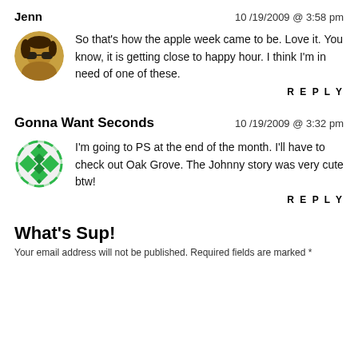Jenn — 10/19/2009 @ 3:58 pm
So that's how the apple week came to be. Love it. You know, it is getting close to happy hour. I think I'm in need of one of these.
REPLY
Gonna Want Seconds — 10/19/2009 @ 3:32 pm
I'm going to PS at the end of the month. I'll have to check out Oak Grove. The Johnny story was very cute btw!
REPLY
What's Sup!
Your email address will not be published. Required fields are marked *